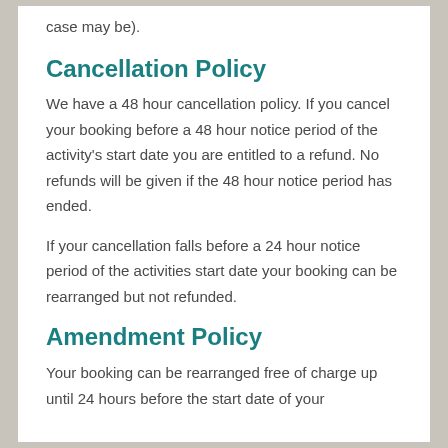case may be).
Cancellation Policy
We have a 48 hour cancellation policy. If you cancel your booking before a 48 hour notice period of the activity's start date you are entitled to a refund. No refunds will be given if the 48 hour notice period has ended.
If your cancellation falls before a 24 hour notice period of the activities start date your booking can be rearranged but not refunded.
Amendment Policy
Your booking can be rearranged free of charge up until 24 hours before the start date of your